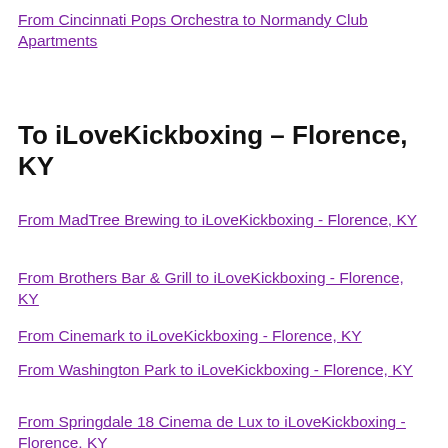From Cincinnati Pops Orchestra to Normandy Club Apartments
To iLoveKickboxing – Florence, KY
From MadTree Brewing to iLoveKickboxing - Florence, KY
From Brothers Bar & Grill to iLoveKickboxing - Florence, KY
From Cinemark to iLoveKickboxing - Florence, KY
From Washington Park to iLoveKickboxing - Florence, KY
From Springdale 18 Cinema de Lux to iLoveKickboxing - Florence, KY